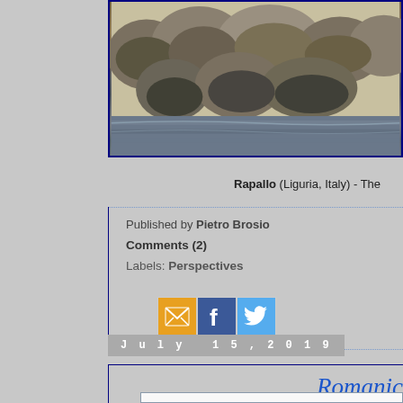[Figure (photo): Coastal rocks and water at Rapallo, Liguria, Italy — large boulders in foreground with sea water below]
Rapallo (Liguria, Italy) - The
Published by Pietro Brosio
Comments (2)
Labels: Perspectives
[Figure (infographic): Share icons: email (orange), Facebook (blue), Twitter (light blue)]
July 15, 2019
Romanic